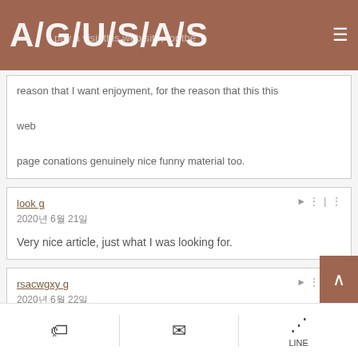A/G/U/S/A/S
reason that I want enjoyment, for the reason that this this web
page conations genuinely nice funny material too.
look g
2020년 6월 21일
Very nice article, just what I was looking for.
rsacwgxy g
2020년 6월 22일
LINE